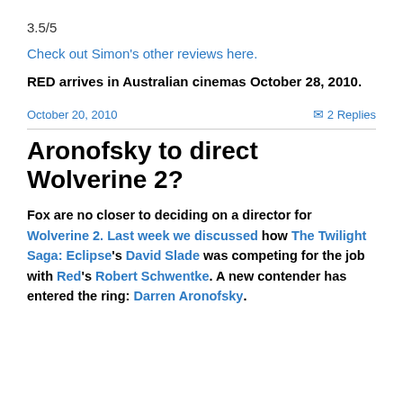3.5/5
Check out Simon's other reviews here.
RED arrives in Australian cinemas October 28, 2010.
October 20, 2010
2 Replies
Aronofsky to direct Wolverine 2?
Fox are no closer to deciding on a director for Wolverine 2. Last week we discussed how The Twilight Saga: Eclipse's David Slade was competing for the job with Red's Robert Schwentke. A new contender has entered the ring: Darren Aronofsky.